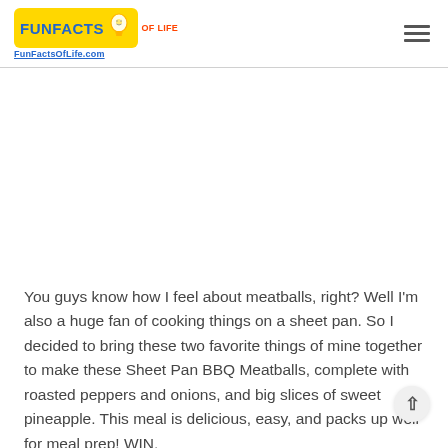FunFactsOfLife.com
You guys know how I feel about meatballs, right? Well I'm also a huge fan of cooking things on a sheet pan. So I decided to bring these two favorite things of mine together to make these Sheet Pan BBQ Meatballs, complete with roasted peppers and onions, and big slices of sweet pineapple. This meal is delicious, easy, and packs up well for meal prep! WIN.